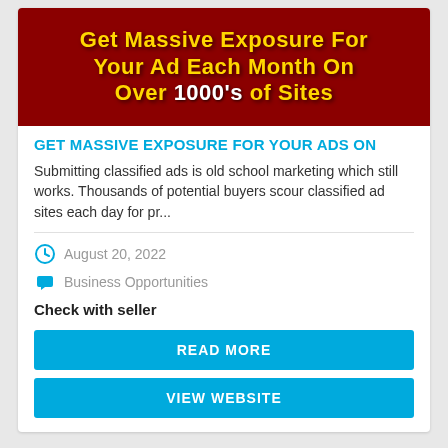[Figure (illustration): Red banner image with yellow bold text reading 'Get Massive Exposure For Your Ad Each Month On Over 1000's of Sites']
GET MASSIVE EXPOSURE FOR YOUR ADS ON
Submitting classified ads is old school marketing which still works. Thousands of potential buyers scour classified ad sites each day for pr...
August 20, 2022
Business Opportunities
Check with seller
READ MORE
VIEW WEBSITE
[Figure (illustration): Dark red banner image with yellow bold text reading 'CLASSIFIED' partially visible, with website URL at top right]